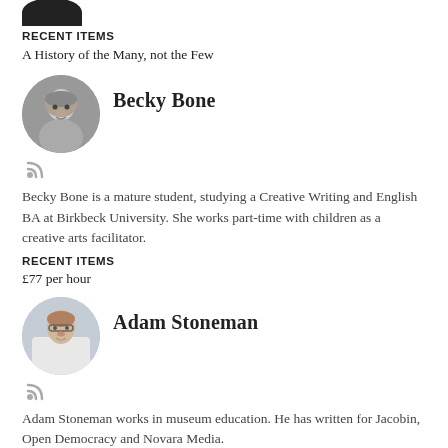[Figure (photo): Partial circular avatar photo at top, cropped]
RECENT ITEMS
A History of the Many, not the Few
[Figure (photo): Circular black-and-white portrait photo of Becky Bone with RSS icon below]
Becky Bone
Becky Bone is a mature student, studying a Creative Writing and English BA at Birkbeck University. She works part-time with children as a creative arts facilitator.
RECENT ITEMS
£77 per hour
[Figure (photo): Circular colour portrait photo of Adam Stoneman with RSS icon below]
Adam Stoneman
Adam Stoneman works in museum education. He has written for Jacobin, Open Democracy and Novara Media.